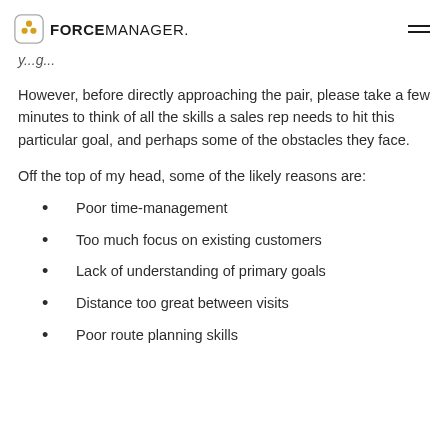FORCEMANAGER.
y...g...
However, before directly approaching the pair, please take a few minutes to think of all the skills a sales rep needs to hit this particular goal, and perhaps some of the obstacles they face.
Off the top of my head, some of the likely reasons are:
Poor time-management
Too much focus on existing customers
Lack of understanding of primary goals
Distance too great between visits
Poor route planning skills